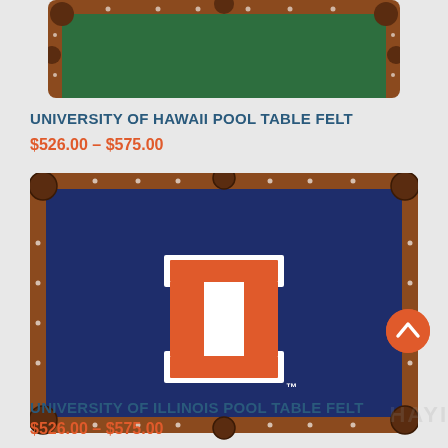[Figure (photo): University of Hawaii pool table felt product image - green felt with brown wood frame, partially visible at top]
UNIVERSITY OF HAWAII POOL TABLE FELT
$526.00 – $575.00
[Figure (photo): University of Illinois pool table felt product image - navy blue felt with brown wood frame and large orange block I logo in center with TM mark]
UNIVERSITY OF ILLINOIS POOL TABLE FELT
$526.00 – $575.00